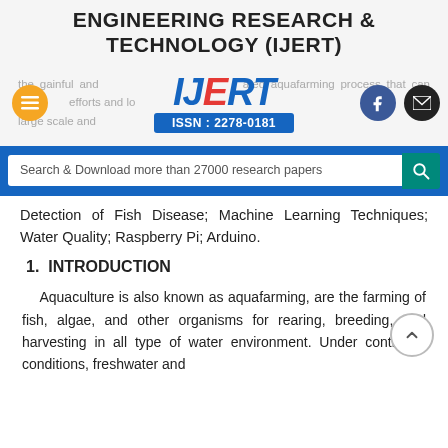ENGINEERING RESEARCH & TECHNOLOGY (IJERT)
[Figure (logo): IJERT logo with ISSN: 2278-0181, surrounded by background text about aquafarming and UI buttons (hamburger menu, Facebook, email icons)]
[Figure (other): Search bar: Search & Download more than 27000 research papers with teal search button]
Detection of Fish Disease; Machine Learning Techniques; Water Quality; Raspberry Pi; Arduino.
1. INTRODUCTION
Aquaculture is also known as aquafarming, are the farming of fish, algae, and other organisms for rearing, breeding, and harvesting in all type of water environment. Under controlled conditions, freshwater and